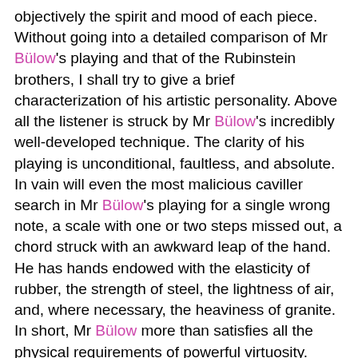objectively the spirit and mood of each piece. Without going into a detailed comparison of Mr Bülow's playing and that of the Rubinstein brothers, I shall try to give a brief characterization of his artistic personality. Above all the listener is struck by Mr Bülow's incredibly well-developed technique. The clarity of his playing is unconditional, faultless, and absolute. In vain will even the most malicious caviller search in Mr Bülow's playing for a single wrong note, a scale with one or two steps missed out, a chord struck with an awkward leap of the hand. He has hands endowed with the elasticity of rubber, the strength of steel, the lightness of air, and, where necessary, the heaviness of granite. In short, Mr Bülow more than satisfies all the physical requirements of powerful virtuosity.
As for the artistic quality of his interpretation, it is distinguished by calm objectivity, a fine elaboration of even the smallest details, and a gift for nuance which is as elegant as it is free from any affectation. He does not have that inspired impetuousness, that subjectivity in rendering the work being performed which make up the chief characteristic of artists of the